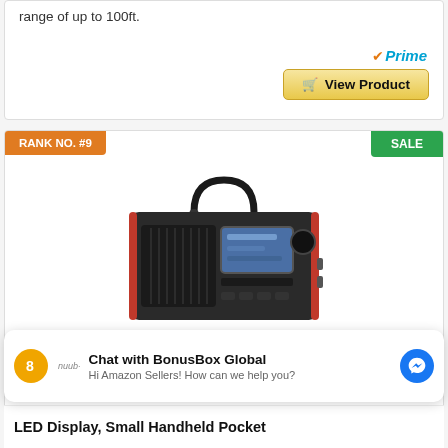range of up to 100ft.
[Figure (other): Amazon Prime logo with orange checkmark and blue italic Prime text]
View Product
RANK NO. #9
SALE
[Figure (photo): Avantree SP850 portable FM radio, black body with red trim, handle on top, speaker grille on left, LCD screen in center, control knob on right]
Avantree SP850 Rechargeable Portable FM
Chat with BonusBox Global
Hi Amazon Sellers! How can we help you?
LED Display, Small Handheld Pocket